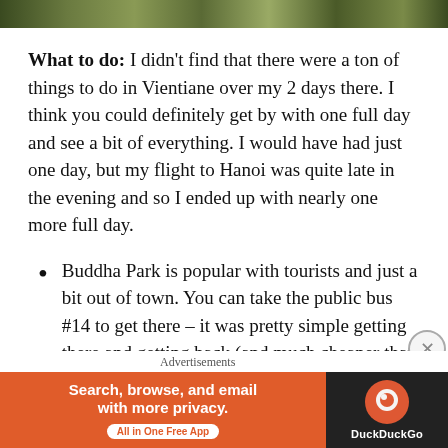[Figure (photo): Top strip showing partial image of a colorful or nature scene, cropped at top of page]
What to do: I didn't find that there were a ton of things to do in Vientiane over my 2 days there. I think you could definitely get by with one full day and see a bit of everything. I would have had just one day, but my flight to Hanoi was quite late in the evening and so I ended up with nearly one more full day.
Buddha Park is popular with tourists and just a bit out of town. You can take the public bus #14 to get there – it was pretty simple getting there and getting back (and much cheaper than a taxi).
Advertisements
[Figure (screenshot): DuckDuckGo advertisement banner: orange left side with text 'Search, browse, and email with more privacy. All in One Free App', dark right side with DuckDuckGo logo and brand name]